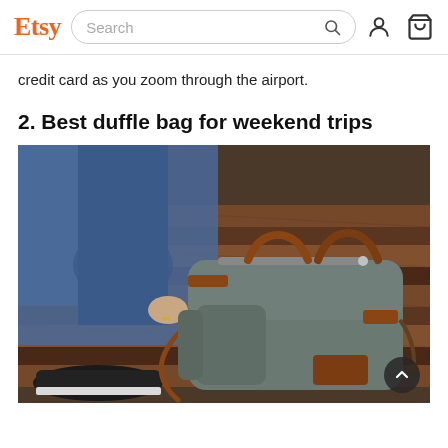Etsy — Search bar with user and cart icons
credit card as you zoom through the airport.
2. Best duffle bag for weekend trips
[Figure (photo): A person in jeans and dark sneakers sitting on rustic metal stairs, with a grey canvas duffle bag with brown leather accents on the steps beside them.]